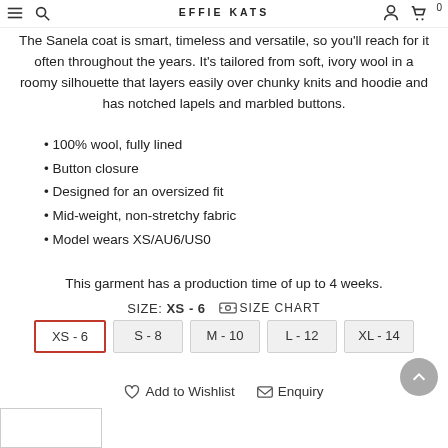EFFIE KATS
The Sanela coat is smart, timeless and versatile, so you'll reach for it often throughout the years. It's tailored from soft, ivory wool in a roomy silhouette that layers easily over chunky knits and hoodie and has notched lapels and marbled buttons.
100% wool, fully lined
Button closure
Designed for an oversized fit
Mid-weight, non-stretchy fabric
Model wears XS/AU6/US0
This garment has a production time of up to 4 weeks.
SIZE: XS - 6  SIZE CHART
| XS - 6 | S - 8 | M - 10 | L - 12 | XL - 14 |
| --- | --- | --- | --- | --- |
Add to Wishlist   Enquiry